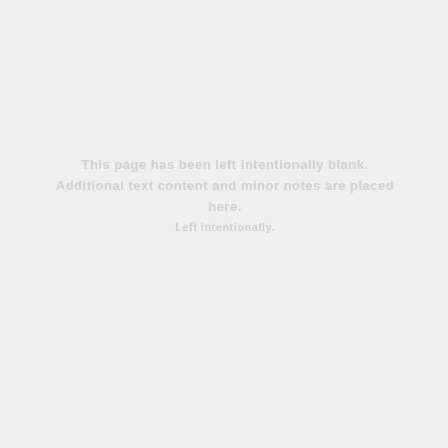This page has been left intentionally blank. Additional text content and minor notes are placed here.